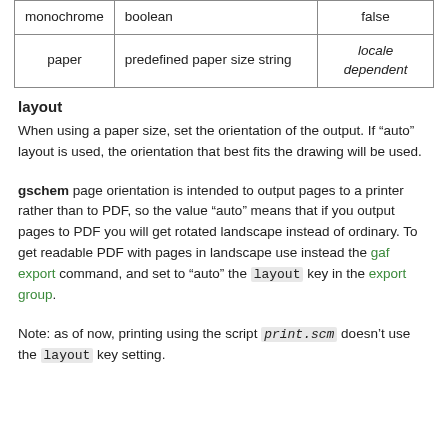| monochrome | boolean | false |
| paper | predefined paper size string | locale dependent |
layout
When using a paper size, set the orientation of the output. If “auto” layout is used, the orientation that best fits the drawing will be used.
gschem page orientation is intended to output pages to a printer rather than to PDF, so the value “auto” means that if you output pages to PDF you will get rotated landscape instead of ordinary. To get readable PDF with pages in landscape use instead the gaf export command, and set to “auto” the layout key in the export group.
Note: as of now, printing using the script print.scm doesn’t use the layout key setting.